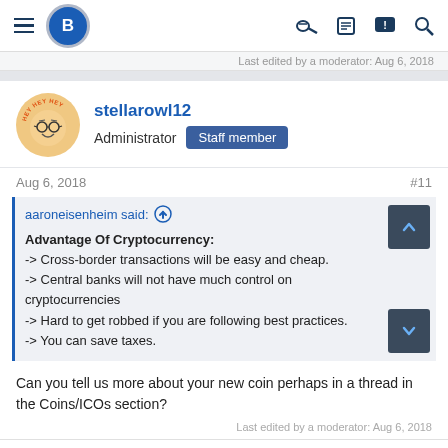Bitcoin Talk Forum navigation bar
Last edited by a moderator: Aug 6, 2018
stellarowl12
Administrator  Staff member
Aug 6, 2018   #11
aaroneisenheim said: ↑

Advantage Of Cryptocurrency:
-> Cross-border transactions will be easy and cheap.
-> Central banks will not have much control on cryptocurrencies
-> Hard to get robbed if you are following best practices.
-> You can save taxes.
Can you tell us more about your new coin perhaps in a thread in the Coins/ICOs section?
Last edited by a moderator: Aug 6, 2018